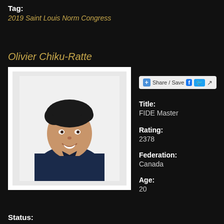Tag:
2019 Saint Louis Norm Congress
Olivier Chiku-Ratte
[Figure (photo): Headshot photo of Olivier Chiku-Ratte, a young man with dark hair wearing a navy polo shirt, smiling against a white background]
Share / Save
Title:
FIDE Master
Rating:
2378
Federation:
Canada
Age:
20
Status: